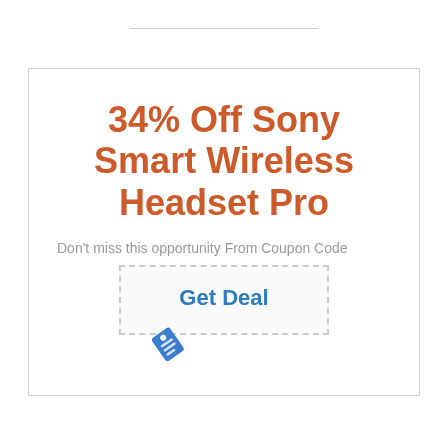34% Off Sony Smart Wireless Headset Pro
Don't miss this opportunity From Coupon Code
[Figure (other): Dashed rectangle button with 'Get Deal' text and a price tag icon below it]